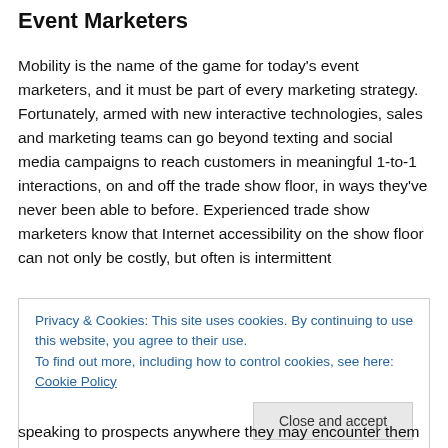Event Marketers
Mobility is the name of the game for today's event marketers, and it must be part of every marketing strategy. Fortunately, armed with new interactive technologies, sales and marketing teams can go beyond texting and social media campaigns to reach customers in meaningful 1-to-1 interactions, on and off the trade show floor, in ways they've never been able to before. Experienced trade show marketers know that Internet accessibility on the show floor can not only be costly, but often is intermittent
Privacy & Cookies: This site uses cookies. By continuing to use this website, you agree to their use.
To find out more, including how to control cookies, see here: Cookie Policy
Close and accept
speaking to prospects anywhere they may encounter them